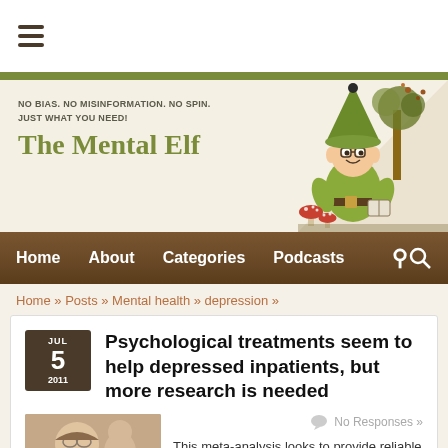[Figure (screenshot): Hamburger menu icon (three horizontal lines)]
[Figure (illustration): The Mental Elf website header with tagline, logo title in olive green, and cartoon elf character with green hat holding a book beside a tree with mushrooms]
Home   About   Categories   Podcasts
Home » Posts » Mental health » depression »
Psychological treatments seem to help depressed inpatients, but more research is needed
No Responses »
This meta-analysis looks to provide reliable evidence about the effectiveness of psychological treatment